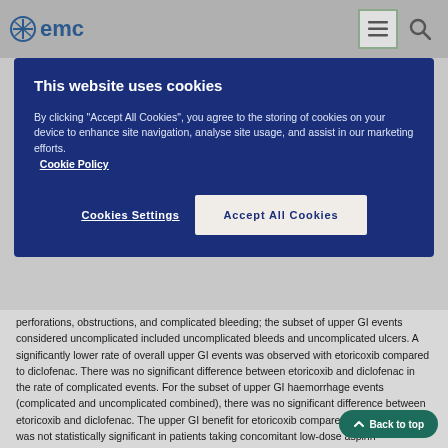emc
This website uses cookies
By clicking “Accept All Cookies”, you agree to the storing of cookies on your device to enhance site navigation, analyse site usage, and assist in our marketing efforts. Cookie Policy
Cookies Settings | Accept All Cookies
perforations, obstructions, and complicated bleeding; the subset of upper GI events considered uncomplicated included uncomplicated bleeds and uncomplicated ulcers. A significantly lower rate of overall upper GI events was observed with etoricoxib compared to diclofenac. There was no significant difference between etoricoxib and diclofenac in the rate of complicated events. For the subset of upper GI haemorrhage events (complicated and uncomplicated combined), there was no significant difference between etoricoxib and diclofenac. The upper GI benefit for etoricoxib compared with diclofenac was not statistically significant in patients taking concomitant low-dose aspirin (approximately 33 % of patients).
The rates per hundred patient-years of confirmed complicated and